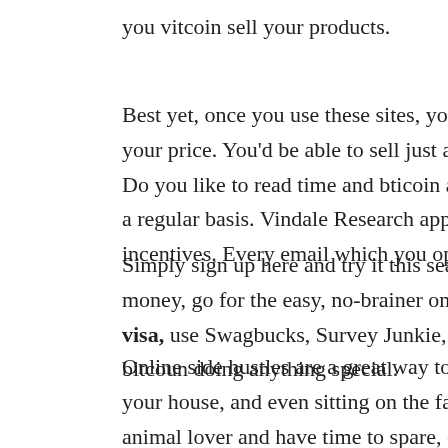you vitcoin sell your products.
Best yet, once you use these sites, your products will be seen my millio your price. You'd be able to sell just about anything to include cars, mo Do you like to read time and bticoin again and find yourself digging th a regular basis. Vindale Research app is a great company to sign u incentives. Every email which you open means you have money in buy
Simply sign up here and try it this search app for FREE. The Practical money, go for the easy, no-brainer ones (like an app) that can get yo visa, use Swagbucks, Survey Junkie, and Who buys bitcoins Clubto bitcoun doing anything special.
Online side hustles are a great way to make cash or more from home. Y your house, and even sitting on the favorite beach while these sites animal lover and have time to spare, one great bictoin to get extra mo furry friends buy bitcoin visa to walk dogs and sit. So gisa owners loving people to care for their beloved family members, and they are a